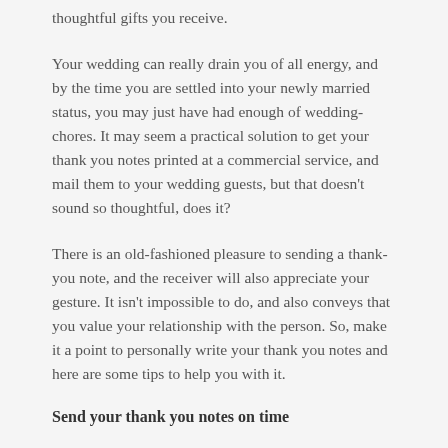thoughtful gifts you receive.
Your wedding can really drain you of all energy, and by the time you are settled into your newly married status, you may just have had enough of wedding-chores. It may seem a practical solution to get your thank you notes printed at a commercial service, and mail them to your wedding guests, but that doesn't sound so thoughtful, does it?
There is an old-fashioned pleasure to sending a thank-you note, and the receiver will also appreciate your gesture. It isn't impossible to do, and also conveys that you value your relationship with the person. So, make it a point to personally write your thank you notes and here are some tips to help you with it.
Send your thank you notes on time